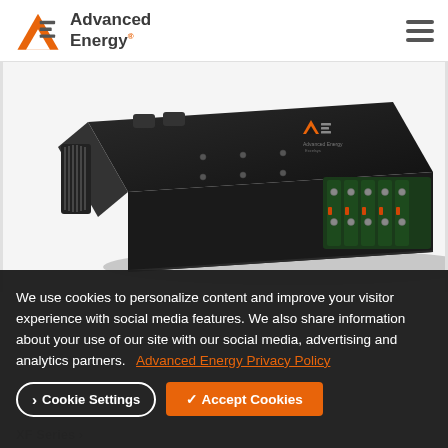Advanced Energy
[Figure (photo): Black Advanced Energy XF Series power supply unit shown at an angle, with green circuit board outputs and cooling fan visible]
We use cookies to personalize content and improve your visitor experience with social media features. We also share information about your use of our site with our social media, advertising and analytics partners. Advanced Energy Privacy Policy
Cookie Settings  ✓ Accept Cookies
XF Series